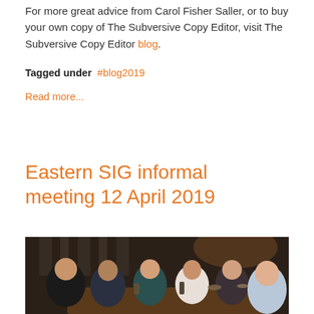For more great advice from Carol Fisher Saller, or to buy your own copy of The Subversive Copy Editor, visit The Subversive Copy Editor blog.
Tagged under  #blog2019
Read more...
Eastern SIG informal meeting 12 April 2019
[Figure (photo): Group photo of six people seated around a table in what appears to be a restaurant or bar, smiling at the camera. Several drinks are visible on the table.]